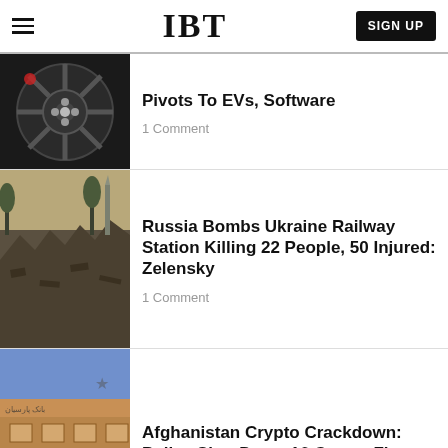IBT  SIGN UP
Pivots To EVs, Software
1 Comment
Russia Bombs Ukraine Railway Station Killing 22 People, 50 Injured: Zelensky
1 Comment
Afghanistan Crypto Crackdown: Police Shut Down 16 Crypto Firms In A Week, Arrest Staff
1 Comment
Starbucks Is Changing Its